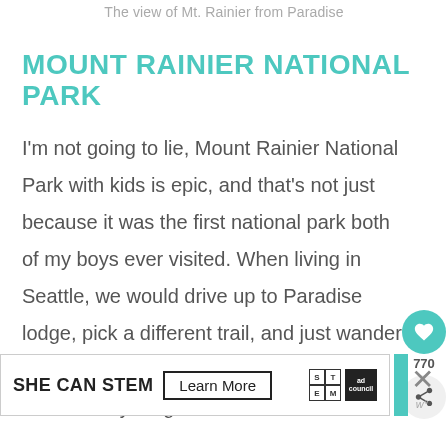The view of Mt. Rainier from Paradise
MOUNT RAINIER NATIONAL PARK
I'm not going to lie, Mount Rainier National Park with kids is epic, and that's not just because it was the first national park both of my boys ever visited. When living in Seattle, we would drive up to Paradise lodge, pick a different trail, and just wander around. Our favorite, and one of the easiest for younge…
[Figure (other): Social sharing sidebar with heart icon showing 770 saves and a share button]
[Figure (other): Advertisement banner: SHE CAN STEM - Learn More, with STEM and Ad Council logos]